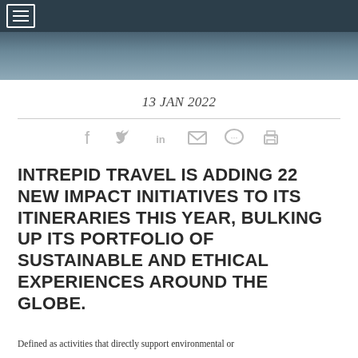[Navigation bar with hamburger menu]
[Figure (photo): Hero image: ocean or landscape with dark teal/grey tones]
13 JAN 2022
[Figure (infographic): Social share icons: Facebook, Twitter, LinkedIn, Email, Comment, Print]
INTREPID TRAVEL IS ADDING 22 NEW IMPACT INITIATIVES TO ITS ITINERARIES THIS YEAR, BULKING UP ITS PORTFOLIO OF SUSTAINABLE AND ETHICAL EXPERIENCES AROUND THE GLOBE.
Defined as activities that directly support environmental or